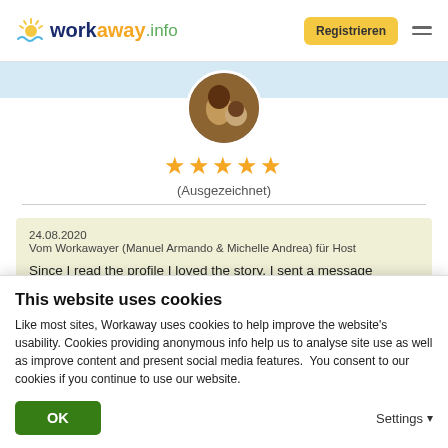workaway.info — Registrieren
[Figure (photo): Circular profile photo of two people (adult and baby)]
★★★★★ (Ausgezeichnet)
24.08.2020
Vom Workawayer (Manuel Armando & Michelle Andrea) für Host
Since I read the profile I loved the story, I sent a message thinking that I was going to volunteer, what I did not know...
This website uses cookies
Like most sites, Workaway uses cookies to help improve the website's usability. Cookies providing anonymous info help us to analyse site use as well as improve content and present social media features.  You consent to our cookies if you continue to use our website.
OK    Settings